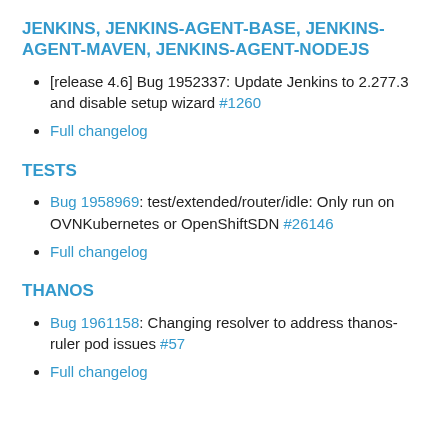JENKINS, JENKINS-AGENT-BASE, JENKINS-AGENT-MAVEN, JENKINS-AGENT-NODEJS
[release 4.6] Bug 1952337: Update Jenkins to 2.277.3 and disable setup wizard #1260
Full changelog
TESTS
Bug 1958969: test/extended/router/idle: Only run on OVNKubernetes or OpenShiftSDN #26146
Full changelog
THANOS
Bug 1961158: Changing resolver to address thanos-ruler pod issues #57
Full changelog